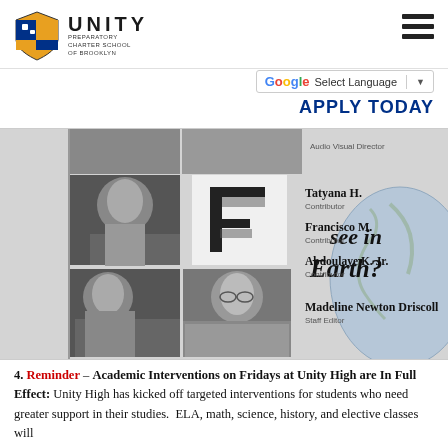[Figure (logo): Unity Preparatory Charter School of Brooklyn logo with shield icon and text]
[Figure (infographic): School newspaper staff photo collage with black and white student photos, stylized letter F, names of contributors (Tatyana H., Francisco M., Abdoulaye K. Jr., Madeline Newton Driscoll), and partial globe with text 'see in Earth?']
4. Reminder – Academic Interventions on Fridays at Unity High are In Full Effect: Unity High has kicked off targeted interventions for students who need greater support in their studies. ELA, math, science, history, and elective classes will